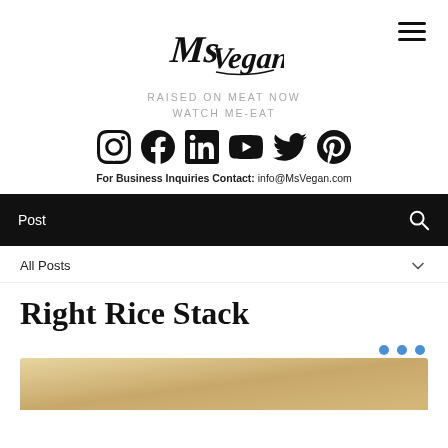[Figure (logo): Ms Vegan handwritten logo in black]
RAISED ON MEAT NOW WATCH ME-EAT
[Figure (infographic): Social media icons: Instagram, Facebook, LinkedIn, YouTube, Twitter, Pinterest]
For Business Inquiries Contact: info@MsVegan.com
Post
All Posts
Right Rice Stack
[Figure (photo): Food photo showing a rice stack dish, partially visible at bottom of page]